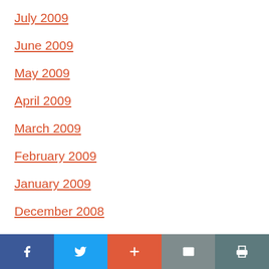July 2009
June 2009
May 2009
April 2009
March 2009
February 2009
January 2009
December 2008
November 2008
Social share bar: Facebook, Twitter, Plus, Email, Print